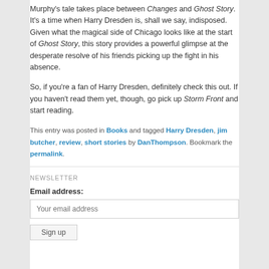Murphy's tale takes place between Changes and Ghost Story. It's a time when Harry Dresden is, shall we say, indisposed. Given what the magical side of Chicago looks like at the start of Ghost Story, this story provides a powerful glimpse at the desperate resolve of his friends picking up the fight in his absence.
So, if you're a fan of Harry Dresden, definitely check this out. If you haven't read them yet, though, go pick up Storm Front and start reading.
This entry was posted in Books and tagged Harry Dresden, jim butcher, review, short stories by DanThompson. Bookmark the permalink.
NEWSLETTER
Email address:
Your email address
Sign up